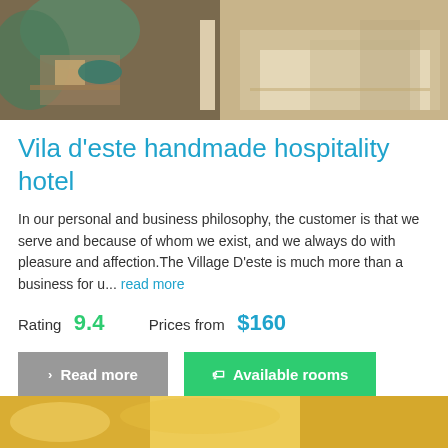[Figure (photo): Hotel room interior photo showing a luxury room with bed, seating area, and outdoor terrace with greenery]
Vila d'este handmade hospitality hotel
In our personal and business philosophy, the customer is that we serve and because of whom we exist, and we always do with pleasure and affection.The Village D'este is much more than a business for u... read more
Rating  9.4     Prices from  $160
Read more   Available rooms
[Figure (photo): Another hotel photo partially visible at the bottom of the page]